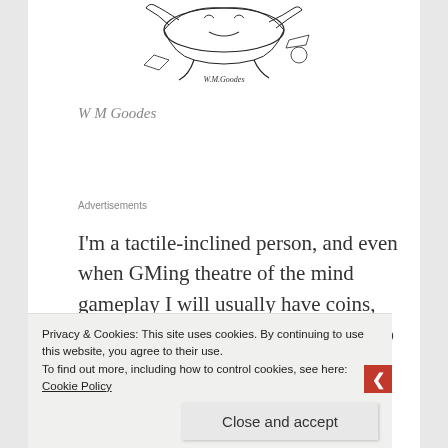[Figure (illustration): A black-and-white pen illustration showing a scene with figures, signed 'W M Goodes']
W M Goodes
Advertisements
I'm a tactile-inclined person, and even when GMing theatre of the mind gameplay I will usually have coins, tokens and dice on a sheet of paper to help me picture how everyone is
Privacy & Cookies: This site uses cookies. By continuing to use this website, you agree to their use.
To find out more, including how to control cookies, see here: Cookie Policy
Close and accept